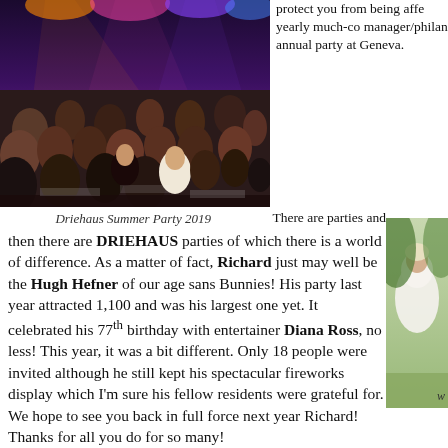[Figure (photo): Large crowd of people seated at an outdoor evening party, the Driehaus Summer Party 2019. Colorful lights in background.]
protect you from being affe yearly much-co manager/philan annual party at Geneva.
Driehaus Summer Party 2019
[Figure (photo): Partial photo of a person in white clothing outdoors, cropped at right edge.]
There are parties and then there are DRIEHAUS parties of which there is a world of difference. As a matter of fact, Richard just may well be the Hugh Hefner of our age sans Bunnies! His party last year attracted 1,100 and was his largest one yet. It celebrated his 77th birthday with entertainer Diana Ross, no less! This year, it was a bit different. Only 18 people were invited although he still kept his spectacular fireworks display which I'm sure his fellow residents were grateful for. We hope to see you back in full force next year Richard! Thanks for all you do for so many!
w